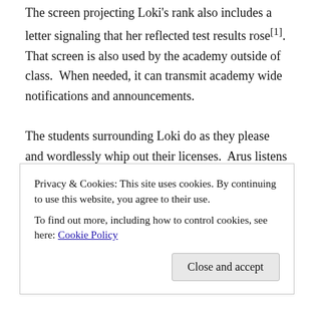The screen projecting Loki's rank also includes a letter signaling that her reflected test results rose[1].  That screen is also used by the academy outside of class.  When needed, it can transmit academy wide notifications and announcements.
The students surrounding Loki do as they please and wordlessly whip out their licenses.  Arus listens as they share their ranks, but has no intention of sharing his.  He lacks the egotistical motivation to join them.
Loki uses that gap of attention to move towards Arus' side and
Privacy & Cookies: This site uses cookies. By continuing to use this website, you agree to their use.
To find out more, including how to control cookies, see here: Cookie Policy
Close and accept
While voices of delight and disappointment from students